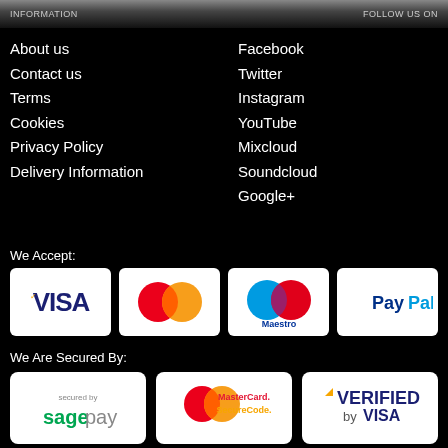INFORMATION | FOLLOW US ON
About us
Contact us
Terms
Cookies
Privacy Policy
Delivery Information
Facebook
Twitter
Instagram
YouTube
Mixcloud
Soundcloud
Google+
We Accept:
[Figure (logo): Payment method logos: VISA, MasterCard, Maestro, PayPal]
We Are Secured By:
[Figure (logo): Security logos: Sage Pay, MasterCard SecureCode, Verified by VISA]